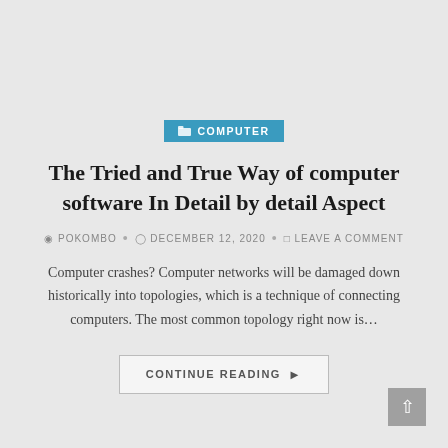COMPUTER
The Tried and True Way of computer software In Detail by detail Aspect
POKOMBO • DECEMBER 12, 2020 • LEAVE A COMMENT
Computer crashes? Computer networks will be damaged down historically into topologies, which is a technique of connecting computers. The most common topology right now is…
CONTINUE READING